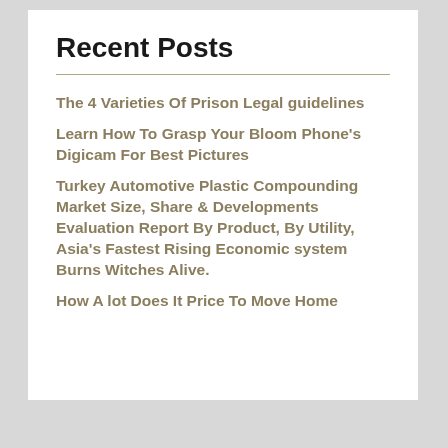Recent Posts
The 4 Varieties Of Prison Legal guidelines
Learn How To Grasp Your Bloom Phone's Digicam For Best Pictures
Turkey Automotive Plastic Compounding Market Size, Share & Developments Evaluation Report By Product, By Utility, Asia's Fastest Rising Economic system Burns Witches Alive.
How A lot Does It Price To Move Home